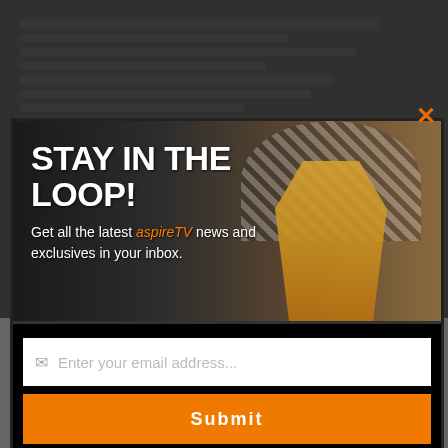[Figure (screenshot): Modal popup overlay on a website. The modal shows a promotional newsletter signup for aspireTV. Background shows a blurred article page and a 'Follow TRIBE TALK' section at the bottom. The modal features a photo of a woman in a yellow dress and wide-brimmed hat with sunglasses, with the headline 'STAY IN THE LOOP!' and subtitle 'Get all the latest aspireTV news and exclusives in your inbox.' Below is an email input field and an orange Submit button. An orange X close button appears in the top right.]
STAY IN THE LOOP!
Get all the latest aspireTV news and exclusives in your inbox.
Submit